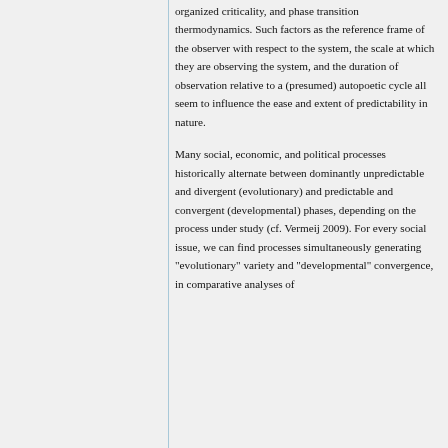organized criticality, and phase transition thermodynamics. Such factors as the reference frame of the observer with respect to the system, the scale at which they are observing the system, and the duration of observation relative to a (presumed) autopoetic cycle all seem to influence the ease and extent of predictability in nature.
Many social, economic, and political processes historically alternate between dominantly unpredictable and divergent (evolutionary) and predictable and convergent (developmental) phases, depending on the process under study (cf. Vermeij 2009). For every social issue, we can find processes simultaneously generating "evolutionary" variety and "developmental" convergence, in comparative analyses of different issues.